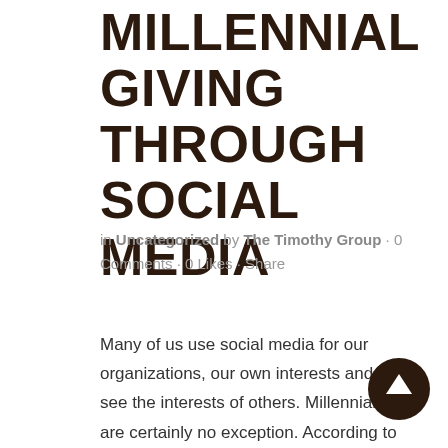MILLENNIAL GIVING THROUGH SOCIAL MEDIA
in Uncategorized by The Timothy Group · 0 Comments · 0 Likes · Share
Many of us use social media for our organizations, our own interests and to see the interests of others. Millennials are certainly no exception. According to Pew Research, 3 out of every 4 millennials engage in some social media platform regularly. That